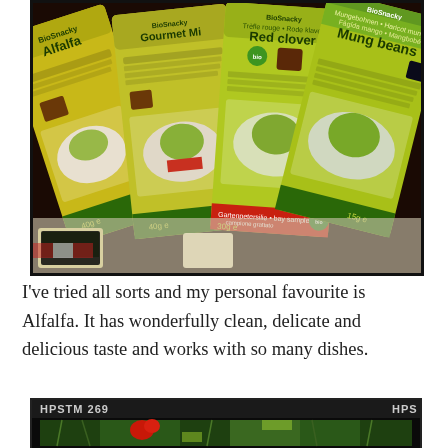[Figure (photo): Photograph of multiple sprouting seed packets from BioSnacky brand arranged overlapping on a red and white checkered tablecloth. Visible packets include Alfalfa, Gourmet Mix, Red clover, and Mung beans. Packets are yellow-green with product images showing sprout dishes.]
I've tried all sorts and my personal favourite is Alfalfa. It has wonderfully clean, delicate and delicious taste and works with so many dishes.
[Figure (photo): Partial photo at bottom of page showing green sprouts or microgreens with a red flower/element visible, under a dark header bar reading 'HPSTM 269' on the left and 'HPS' on the right.]